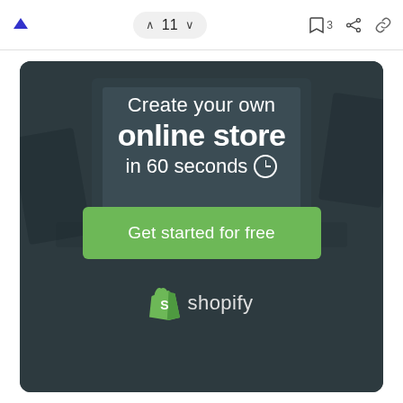▲  ∧ 11 ∨  🔖 3  ⬆ 🔗
[Figure (screenshot): Shopify advertisement banner showing dark background with laptop, headline 'Create your own online store in 60 seconds', a green CTA button 'Get started for free', and the Shopify logo at the bottom.]